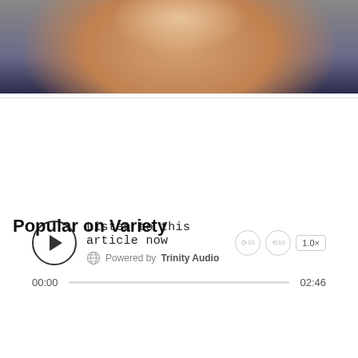[Figure (photo): Close-up photo of a man with a mustache smiling, wearing a dark suit and white shirt]
[Figure (screenshot): Audio player widget: 'Listen to this article now', Powered by Trinity Audio, play button, time 00:00 to 02:46, progress bar, speed 1.0x]
Popular on Variety
[Figure (screenshot): Video thumbnail with text overlay 'Anitta on 2022 VMAs Red Carpet', showing a crowd scene, Variety logo in top right, play button in center]